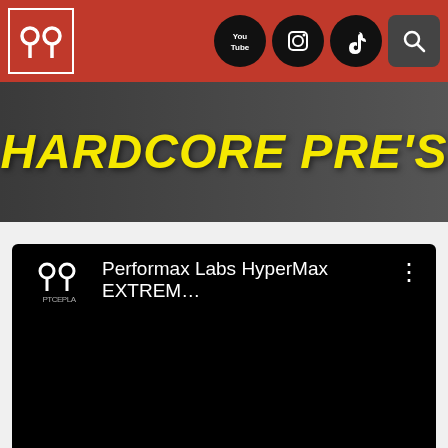[Figure (screenshot): Website navigation bar with red background, logo (PP icon), YouTube, Instagram, TikTok, and search icons]
[Figure (photo): Banner image with a person in dark clothing and large yellow italic text reading HARDCORE PRE'S]
[Figure (screenshot): Embedded video player (black background) showing channel logo and title: Performax Labs HyperMax EXTREM...]